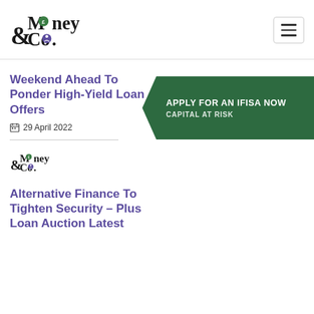Money & Co. logo and navigation
Weekend Ahead To Ponder High-Yield Loan Offers
29 April 2022
[Figure (logo): Money & Co. small logo]
[Figure (infographic): APPLY FOR AN IFISA NOW — CAPITAL AT RISK green arrow banner]
Alternative Finance To Tighten Security – Plus Loan Auction Latest